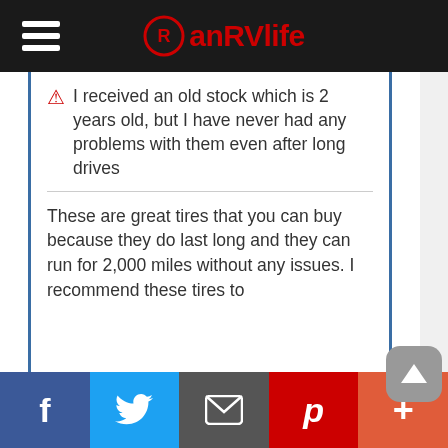anRVlife
⚠ I received an old stock which is 2 years old, but I have never had any problems with them even after long drives
These are great tires that you can buy because they do last long and they can run for 2,000 miles without any issues. I recommend these tires to
f  [twitter]  [email]  p  +